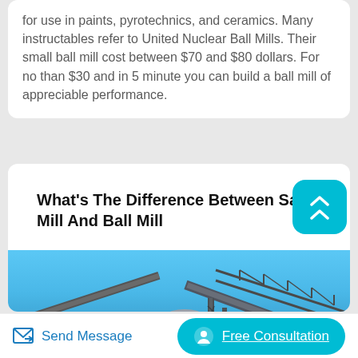for use in paints, pyrotechnics, and ceramics. Many instructables refer to United Nuclear Ball Mills. Their small ball mill cost between $70 and $80 dollars. For no than $30 and in 5 minute you can build a ball mill of appreciable performance.
What's The Difference Between Sag Mill And Ball Mill
[Figure (photo): Industrial mining conveyor and processing equipment structure against a blue sky with arid landscape in background.]